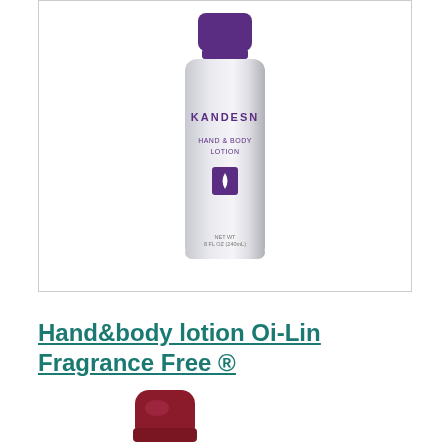[Figure (photo): Kandesn Hand & Body Lotion bottle — tall cylindrical white/silver bottle with purple cap and purple label text. Logo shows KANDESN and HAND & BODY LOTION with a purple droplet icon. Net wt 8 fl oz (240ml).]
Hand&body lotion Oi-Lin Fragrance Free ®
[Figure (photo): Partial view of a dark red/maroon product bottle or container, showing the top portion with a rounded cap.]